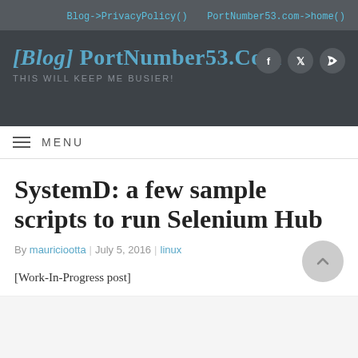Blog->PrivacyPolicy()   PortNumber53.com->home()
[Blog] PortNumber53.com
THIS WILL KEEP ME BUSIER!
≡ MENU
SystemD: a few sample scripts to run Selenium Hub
By mauriciootta | July 5, 2016 | linux
[Work-In-Progress post]